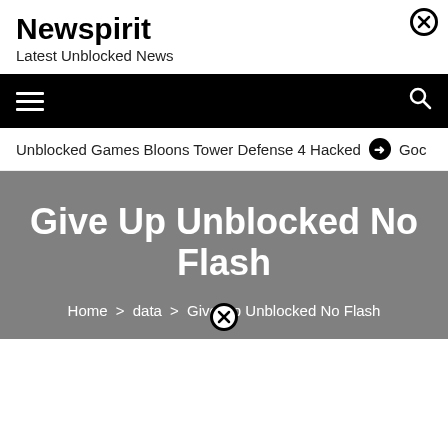Newspirit
Latest Unblocked News
[Figure (other): Close/cancel circular icon (X in circle) in top right of header]
[Figure (other): Navigation bar with hamburger menu icon on left and search icon on right, black background]
Unblocked Games Bloons Tower Defense 4 Hacked  ❯  Goc
Give Up Unblocked No Flash
Home > data > Give Up Unblocked No Flash
[Figure (other): Close/cancel circular icon (X in circle) at bottom center]